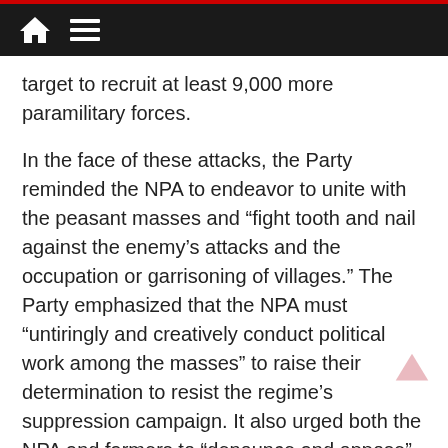[navigation bar with home and menu icons]
target to recruit at least 9,000 more paramilitary forces.
In the face of these attacks, the Party reminded the NPA to endeavor to unite with the peasant masses and “fight tooth and nail against the enemy’s attacks and the occupation or garrisoning of villages.” The Party emphasized that the NPA must “untiringly and creatively conduct political work among the masses” to raise their determination to resist the regime’s suppression campaign. It also urged both the NPA and farmers to “denounce and oppose” the presence of abusive military and police troops, and to actively expose them in the media and social media.
In particular, the CPP instructed the NPA to